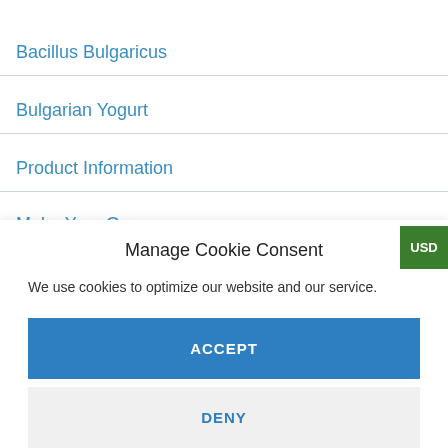Bacillus Bulgaricus
Bulgarian Yogurt
Product Information
Manage Cookie Consent
We use cookies to optimize our website and our service.
ACCEPT
DENY
PREFERENCES